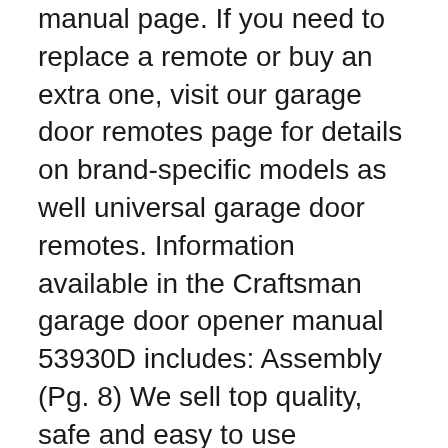manual page. If you need to replace a remote or buy an extra one, visit our garage door remotes page for details on brand-specific models as well universal garage door remotes. Information available in the Craftsman garage door opener manual 53930D includes: Assembly (Pg. 8) We sell top quality, safe and easy to use products as well as offering an effective and friendly customer services, and very fast delivery. We have good user manuals and Youtube videos to assist novice users to assemble and dissamble our scaffold towers.
If you have any questions about RUSTGO Parts and Pricing or the